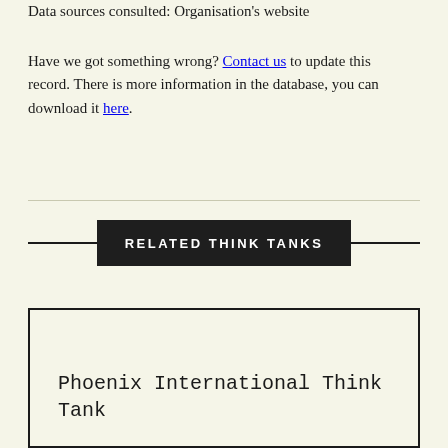Data sources consulted: Organisation's website
Have we got something wrong? Contact us to update this record. There is more information in the database, you can download it here.
RELATED THINK TANKS
Phoenix International Think Tank
PIT